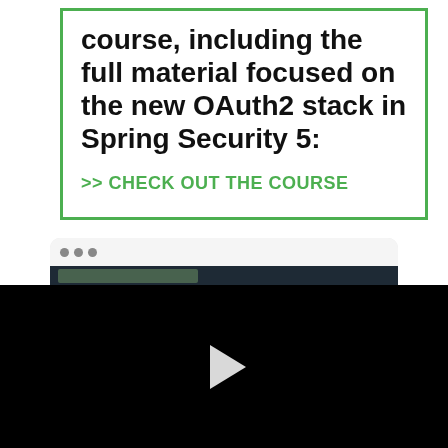course, including the full material focused on the new OAuth2 stack in Spring Security 5:
>> CHECK OUT THE COURSE
[Figure (screenshot): Browser window screenshot showing a code editor with dark theme and colorful code lines]
[Figure (screenshot): Black video player area with a white play button triangle in the center]